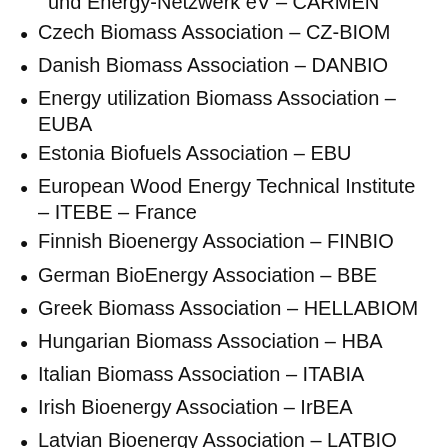und Energy-Netzwerk eV – CARMEN
Czech Biomass Association – CZ-BIOM
Danish Biomass Association – DANBIO
Energy utilization Biomass Association – EUBA
Estonia Biofuels Association – EBU
European Wood Energy Technical Institute – ITEBE – France
Finnish Bioenergy Association – FINBIO
German BioEnergy Association – BBE
Greek Biomass Association – HELLABIOM
Hungarian Biomass Association – HBA
Italian Biomass Association – ITABIA
Irish Bioenergy Association – IrBEA
Latvian Bioenergy Association – LATBIO
Lithuanian Bioenergy Association – LITBIOMA